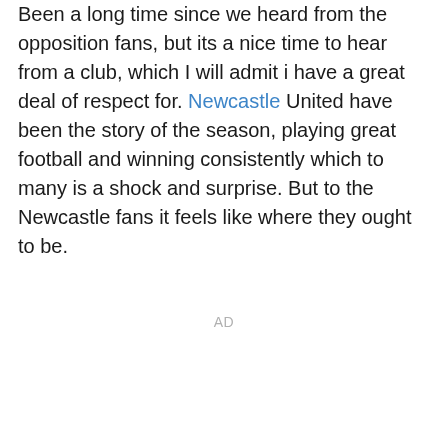Been a long time since we heard from the opposition fans, but its a nice time to hear from a club, which I will admit i have a great deal of respect for. Newcastle United have been the story of the season, playing great football and winning consistently which to many is a shock and surprise. But to the Newcastle fans it feels like where they ought to be.
AD